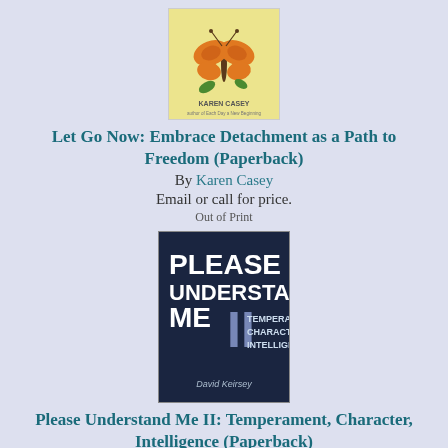[Figure (illustration): Book cover of 'Let Go Now' by Karen Casey, featuring a butterfly illustration on a light yellow background with the author's name at the bottom.]
Let Go Now: Embrace Detachment as a Path to Freedom (Paperback)
By Karen Casey
Email or call for price.
Out of Print
[Figure (illustration): Book cover of 'Please Understand Me II: Temperament, Character, Intelligence' by David Keirsey, dark navy blue cover with large bold text and title details.]
Please Understand Me II: Temperament, Character, Intelligence (Paperback)
By David Keirsey, Ray Choiniere (Foreword by)
$19.95